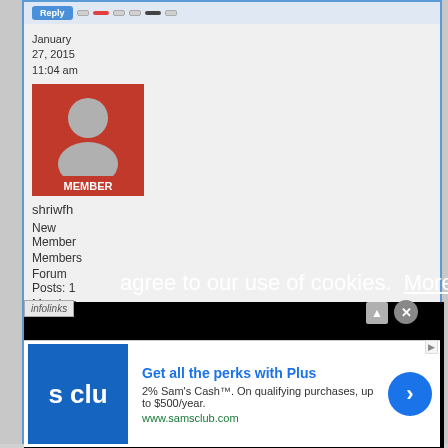January 27, 2015 11:04 am
[Figure (illustration): Forum member avatar with orange/red background showing generic silhouette person icon, with MEMBER badge at bottom]
shriwfh
New Member
Members
Forum Posts: 1
Member
We use cookies to help us deliver and improve our services. By using this website, agree to our use of cookies.  More info
[Figure (infographic): Sam's Club advertisement banner: Get all the perks with Plus. 2% Sam's Cash. On qualifying purchases, up to $500/year. www.samsclub.com]